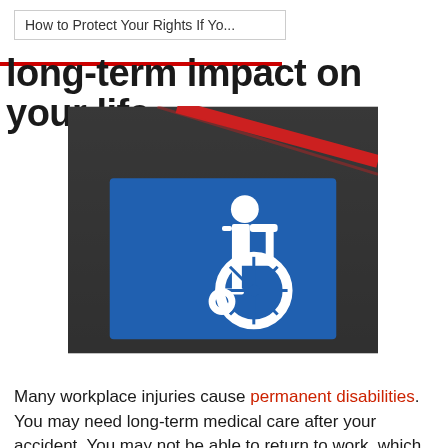How to Protect Your Rights If Yo...
long-term impact on your life.
[Figure (photo): Photograph of a blue wheelchair accessibility symbol painted on a dark asphalt parking lot surface, with red painted lines visible in the upper portion of the image.]
Many workplace injuries cause permanent disabilities. You may need long-term medical care after your accident. You may not be able to return to work, which